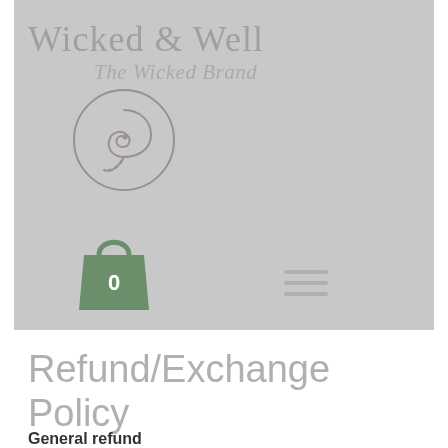[Figure (logo): Wicked & Well brand header banner with logo, shopping bag icon with 0, and hamburger menu. Light gray background with brand name 'Wicked & Well' in serif font and italic 'The Wicked Brand' subtitle, circular ornamental logo, green shopping bag icon, and three-line hamburger menu.]
Refund/Exchange Policy
General refund